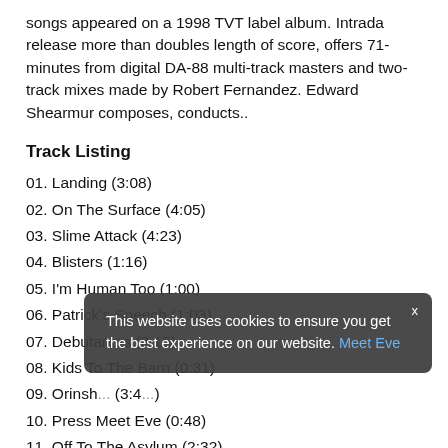songs appeared on a 1998 TVT label album. Intrada release more than doubles length of score, offers 71-minutes from digital DA-88 multi-track masters and two-track mixes made by Robert Fernandez. Edward Shearmur composes, conducts..
Track Listing
01. Landing (3:08)
02. On The Surface (4:05)
03. Slime Attack (4:23)
04. Blisters (1:16)
05. I'm Human Too (1:00)
06. Patrick's Speech (1:03)
07. Debutantes (3:15)
08. Kids To The Barn (0:31)
09. Orinsh... (3:4...)
10. Press Meet Eve (0:48)
11. Off To The Asylum (2:32)
12. Melissa Goes Down (3:39)
13. ...  (1:00...)